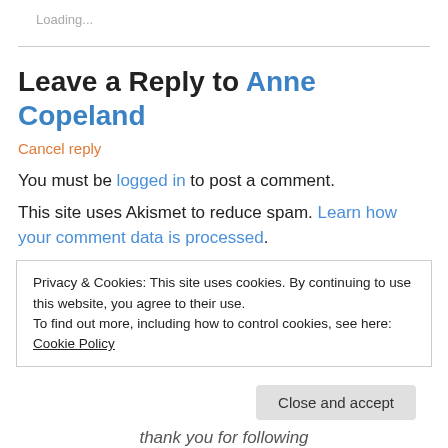Loading...
Leave a Reply to Anne Copeland
Cancel reply
You must be logged in to post a comment.
This site uses Akismet to reduce spam. Learn how your comment data is processed.
Privacy & Cookies: This site uses cookies. By continuing to use this website, you agree to their use.
To find out more, including how to control cookies, see here: Cookie Policy
Close and accept
thank you for following